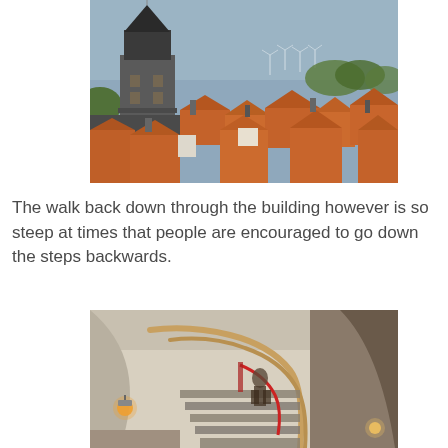[Figure (photo): Aerial rooftop view of a European town with orange/terracotta tile roofs and a prominent church tower with a dark spire on the left, under a blue-grey sky with wind turbines visible in the background.]
The walk back down through the building however is so steep at times that people are encouraged to go down the steps backwards.
[Figure (photo): Interior staircase of a building showing steep metal-railed stairs descending, with warm lighting from wall lights and a person visible on the stairs, white curved walls.]